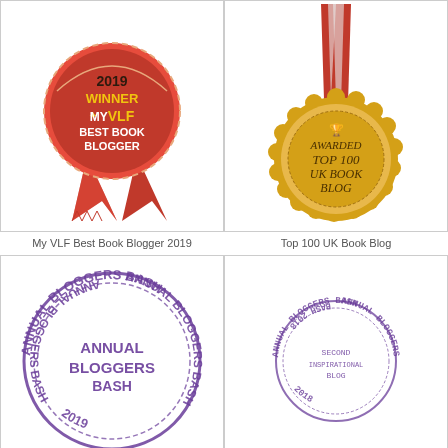[Figure (logo): My VLF Best Book Blogger 2019 award ribbon badge - red circular badge with gold text reading '2019 WINNER MY VLF BEST BOOK BLOGGER' with red ribbon streamers below]
[Figure (logo): Top 100 UK Book Blog award - gold medal with serrated edge, red and white ribbon lanyard, text 'AWARDED TOP 100 UK BOOK BLOG']
My VLF Best Book Blogger 2019
Top 100 UK Book Blog
[Figure (logo): Annual Bloggers Bash 2019 stamp - large purple circular stamp with text 'ANNUAL BLOGGERS BASH' in center and curved text around the circle]
[Figure (logo): Annual Bloggers Bash Second Inspirational Blog 2018 - smaller purple circular stamp with similar design]